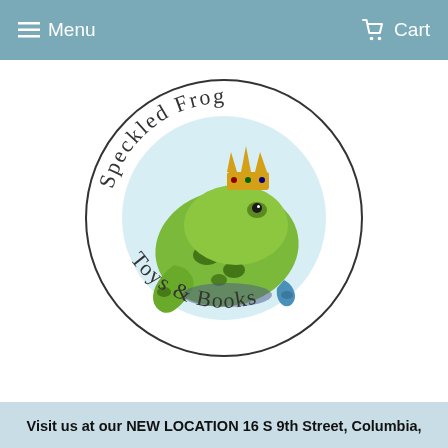Menu  Cart
[Figure (logo): Speckled Frog Toys & Books circular logo featuring an illustrated green frog with a golden crown, surrounded by text 'Speckled Frog' at the top and 'Toys & Books' at the bottom, with a light blue circular background behind the frog illustration]
Visit us at our NEW LOCATION 16 S 9th Street, Columbia,